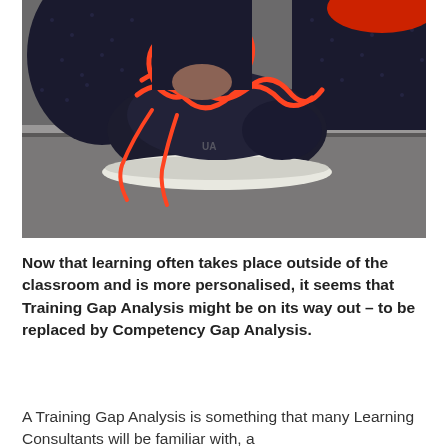[Figure (photo): Close-up photo of a person wearing dark patterned athletic leggings and a black and red sneaker with bright red/orange laces, lying on a concrete or wooden surface with a red top visible at upper right.]
Now that learning often takes place outside of the classroom and is more personalised, it seems that Training Gap Analysis might be on its way out – to be replaced by Competency Gap Analysis.
A Training Gap Analysis is something that many Learning Consultants will be familiar with, a